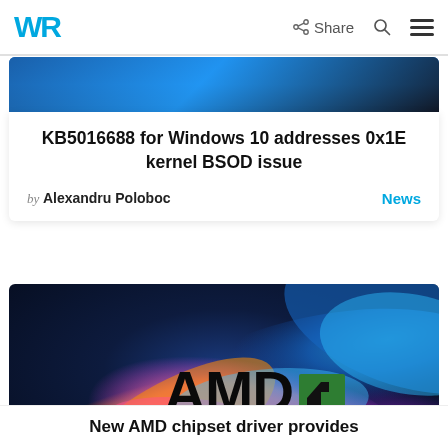WR | Share | Search | Menu
[Figure (photo): Partial blue gradient image at top of article card]
KB5016688 for Windows 10 addresses 0x1E kernel BSOD issue
by Alexandru Poloboc  News
[Figure (photo): AMD logo over colorful Windows 11 swirl wallpaper background — orange, pink, purple, blue gradient swirling shapes with AMD logo centered]
New AMD chipset driver provides